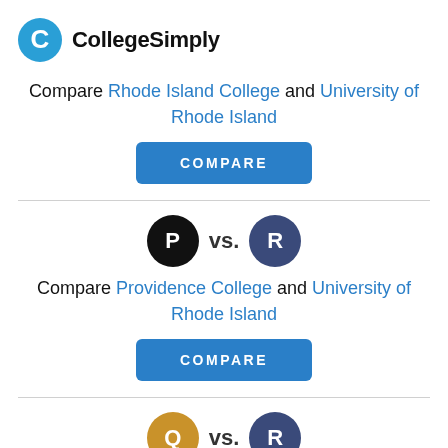CollegeSimply
Compare Rhode Island College and University of Rhode Island
COMPARE
[Figure (logo): P icon (black circle) vs. R icon (dark blue circle)]
Compare Providence College and University of Rhode Island
COMPARE
[Figure (logo): Q icon (gold circle) vs. R icon (dark blue circle)]
Compare Quinnipiac University and University